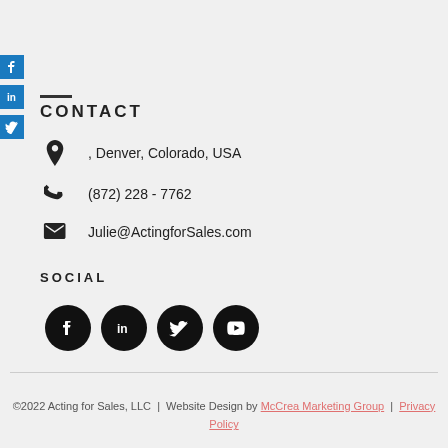CONTACT
, Denver, Colorado, USA
(872) 228 - 7762
Julie@ActingforSales.com
SOCIAL
[Figure (other): Four social media icon circles: Facebook, LinkedIn, Twitter, YouTube]
©2022 Acting for Sales, LLC | Website Design by McCrea Marketing Group | Privacy Policy